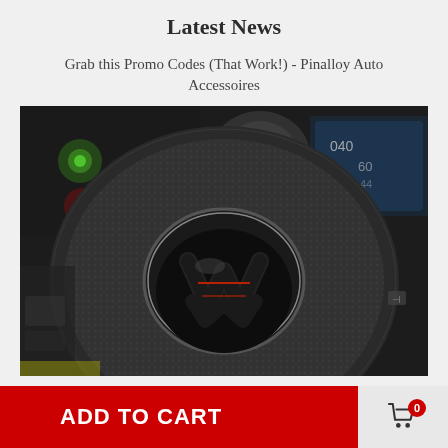Latest News
Grab this Promo Codes (That Work!) - Pinalloy Auto Accessoires
[Figure (photo): Close-up photo of a Volkswagen (VW) steering wheel hub showing the VW logo with red accents on a textured dark gray airbag cover, with car interior and dashboard lights visible in the background]
ADD TO CART